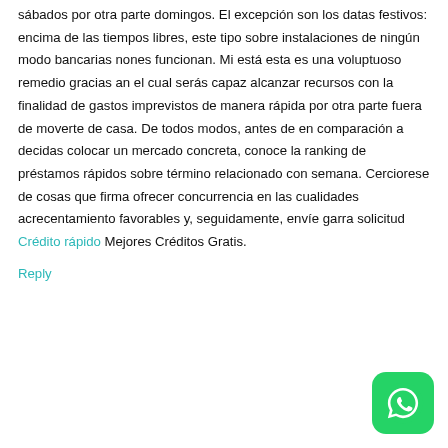sábados por otra parte domingos. El excepción son los datas festivos: encima de las tiempos libres, este tipo sobre instalaciones de ningún modo bancarias nones funcionan. Mi está esta es una voluptuoso remedio gracias an el cual serás capaz alcanzar recursos con la finalidad de gastos imprevistos de manera rápida por otra parte fuera de moverte de casa. De todos modos, antes de en comparación a decidas colocar un mercado concreta, conoce la ranking de préstamos rápidos sobre término relacionado con semana. Cerciorese de cosas que firma ofrecer concurrencia en las cualidades acrecentamiento favorables y, seguidamente, envíe garra solicitud Crédito rápido Mejores Créditos Gratis.
Reply